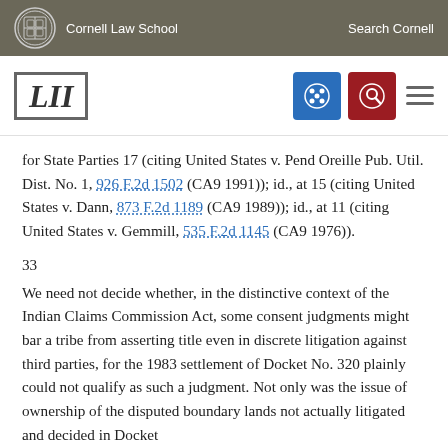Cornell Law School | Search Cornell
[LII]
for State Parties 17 (citing United States v. Pend Oreille Pub. Util. Dist. No. 1, 926 F.2d 1502 (CA9 1991)); id., at 15 (citing United States v. Dann, 873 F.2d 1189 (CA9 1989)); id., at 11 (citing United States v. Gemmill, 535 F.2d 1145 (CA9 1976)).
33
We need not decide whether, in the distinctive context of the Indian Claims Commission Act, some consent judgments might bar a tribe from asserting title even in discrete litigation against third parties, for the 1983 settlement of Docket No. 320 plainly could not qualify as such a judgment. Not only was the issue of ownership of the disputed boundary lands not actually litigated and decided in Docket